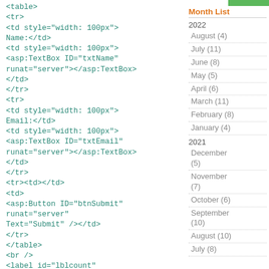<table>
<tr>
<td style="width: 100px">
Name:</td>
<td style="width: 100px">
<asp:TextBox ID="txtName"
runat="server"></asp:TextBox>
</td>
</tr>
<tr>
<td style="width: 100px">
Email:</td>
<td style="width: 100px">
<asp:TextBox ID="txtEmail"
runat="server"></asp:TextBox>
</td>
</tr>
<tr><td></td>
<td>
<asp:Button ID="btnSubmit"
runat="server"
OnClick="btnSubmit_Click"
Text="Submit" /></td>
</tr>
</table>
<br />
<label id="lblcount"
runat="server" />
</div>
</form>
</body>
Month List
2022
August (4)
July (11)
June (8)
May (5)
April (6)
March (11)
February (8)
January (4)
2021
December (5)
November (7)
October (6)
September (10)
August (10)
July (8)